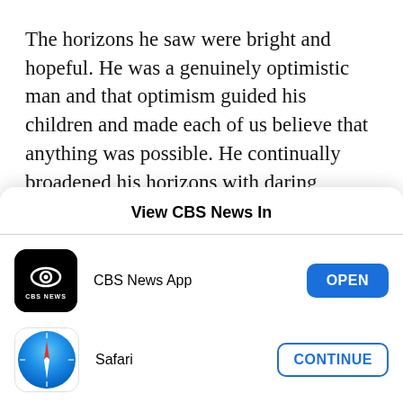The horizons he saw were bright and hopeful. He was a genuinely optimistic man and that optimism guided his children and made each of us believe that anything was possible. He continually broadened his horizons with daring decisions.
He was a patriot. After high school, he put college on
View CBS News In
[Figure (logo): CBS News App icon: black rounded square with CBS eye logo and CBS NEWS text]
CBS News App
OPEN
[Figure (logo): Safari browser icon: circular gradient blue icon with compass/arrow logo]
Safari
CONTINUE